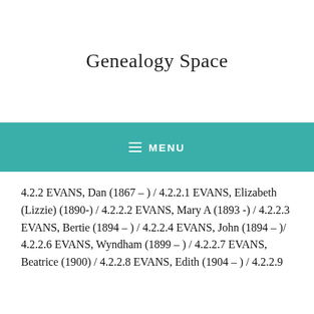Genealogy Space
MENU
4.2.2 EVANS, Dan (1867 – ) / 4.2.2.1 EVANS, Elizabeth (Lizzie) (1890-) / 4.2.2.2 EVANS, Mary A (1893 -) / 4.2.2.3 EVANS, Bertie (1894 – ) / 4.2.2.4 EVANS, John (1894 – )/ 4.2.2.6 EVANS, Wyndham (1899 – ) / 4.2.2.7 EVANS, Beatrice (1900) / 4.2.2.8 EVANS, Edith (1904 – ) / 4.2.2.9